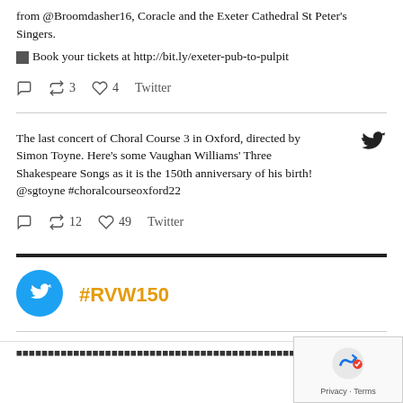from @Broomdasher16, Coracle and the Exeter Cathedral St Peter's Singers.
🔲Book your tickets at http://bit.ly/exeter-pub-to-pulpit
🗨 🔁 3 ♡ 4 Twitter
The last concert of Choral Course 3 in Oxford, directed by Simon Toyne. Here's some Vaughan Williams' Three Shakespeare Songs as it is the 150th anniversary of his birth! @sgtoyne #choralcourseoxford22
🗨 🔁 12 ♡ 49 Twitter
#RVW150
Privacy · Terms (captcha overlay)